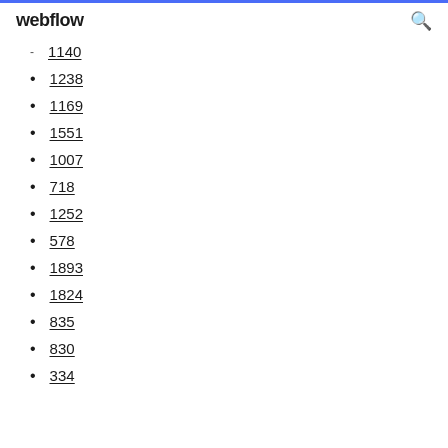webflow
1140
1238
1169
1551
1007
718
1252
578
1893
1824
835
830
334